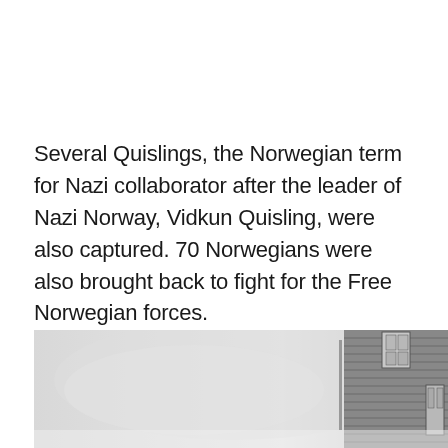Several Quislings, the Norwegian term for Nazi collaborator after the leader of Nazi Norway, Vidkun Quisling, were also captured. 70 Norwegians were also brought back to fight for the Free Norwegian forces.
[Figure (photo): Black and white photograph showing a building with horizontal siding on the right side and a cloudy sky background. The image is partially cut off at the bottom of the page.]